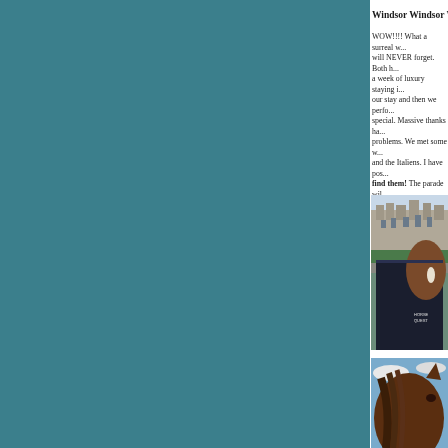Windsor Windsor Winds...
WOW!!!! What a surreal w... will NEVER forget. Both h... a week of luxury staying i... our stay and then we perfo... special. Massive thanks ha... problems. We met some w... and the Italiens. I have pos... find them! The parade wil...
[Figure (photo): A horse wearing a navy blue horse rug/blanket with 'Horse Quest' branding, standing in front of Windsor Castle]
[Figure (photo): A close-up of a horse's head and mane against a blue sky background]